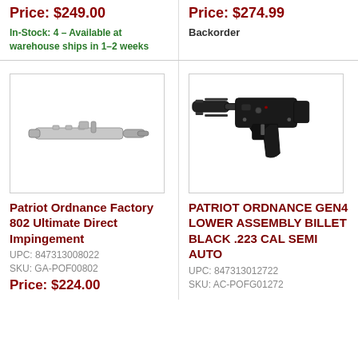Price: $249.00
In-Stock: 4 – Available at warehouse ships in 1–2 weeks
Price: $274.99
Backorder
[Figure (photo): Bolt carrier group / direct impingement assembly, silver/chrome finish]
[Figure (photo): AR-15 lower receiver assembly with stock, pistol grip, black finish]
Patriot Ordnance Factory 802 Ultimate Direct Impingement
UPC: 847313008022
SKU: GA-POF00802
Price: $224.00
PATRIOT ORDNANCE GEN4 LOWER ASSEMBLY BILLET BLACK .223 CAL SEMI AUTO
UPC: 847313012722
SKU: AC-POFG01272